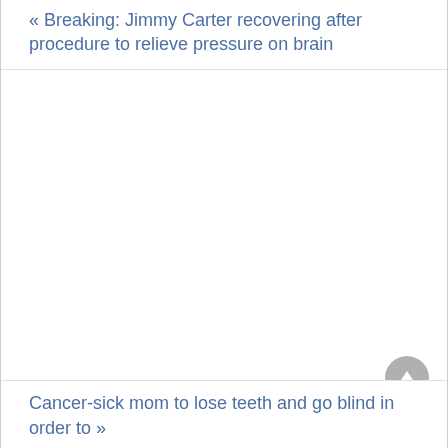« Breaking: Jimmy Carter recovering after procedure to relieve pressure on brain
Cancer-sick mom to lose teeth and go blind in order to »